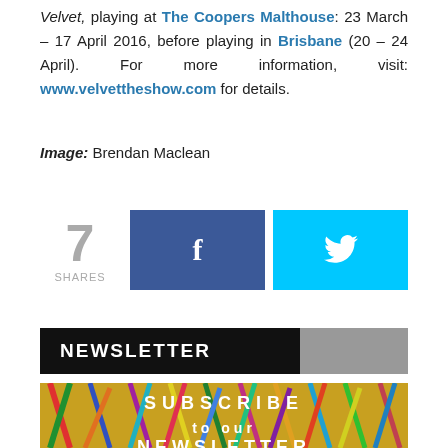Velvet, playing at The Coopers Malthouse: 23 March – 17 April 2016, before playing in Brisbane (20 – 24 April). For more information, visit: www.velvettheshow.com for details.
Image: Brendan Maclean
[Figure (infographic): Social share buttons: 7 SHARES, Facebook button (dark blue with f icon), Twitter button (cyan with bird icon)]
NEWSLETTER
[Figure (photo): Colourful craft sticks background with overlaid text: SUBSCRIBE to our NEWSLETTER]